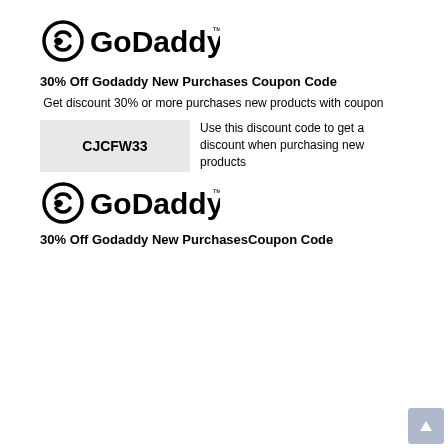[Figure (logo): GoDaddy logo with stylized G icon and 'GoDaddy' text with trademark symbol]
30% Off Godaddy New Purchases Coupon Code
Get discount 30% or more purchases new products with coupon
CJCFW33 — Use this discount code to get a discount when purchasing new products
[Figure (logo): GoDaddy logo with stylized G icon and 'GoDaddy' text with trademark symbol]
30% Off Godaddy New PurchasesCoupon Code